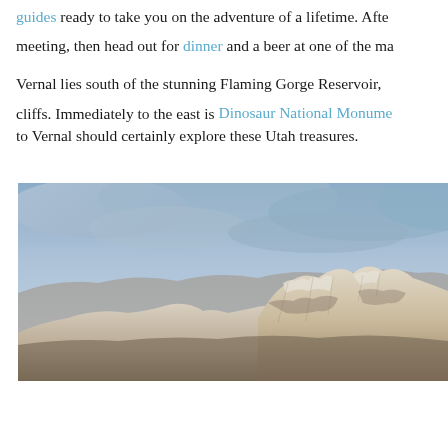guides ready to take you on the adventure of a lifetime. After meeting, then head out for dinner and a beer at one of the ma...
Vernal lies south of the stunning Flaming Gorge Reservoir, cliffs. Immediately to the east is Dinosaur National Monument to Vernal should certainly explore these Utah treasures.
[Figure (photo): A panoramic photograph showing rocky cliffs or canyon formations under a blue-grey cloudy sky. The rocks appear light-colored, possibly sandstone or limestone, with rugged formations in the foreground.]